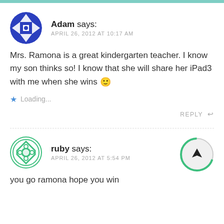Adam says: APRIL 26, 2012 AT 10:17 AM
Mrs. Ramona is a great kindergarten teacher. I know my son thinks so! I know that she will share her iPad3 with me when she wins 🙂
Loading...
REPLY
ruby says: APRIL 26, 2012 AT 5:54 PM
you go ramona hope you win